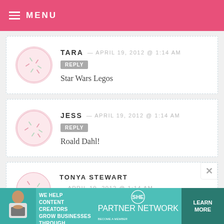MENU
TARA — APRIL 19, 2012 @ 1:14 AM
Star Wars Legos
JESS — APRIL 19, 2012 @ 1:14 AM
Roald Dahl!
TONYA STEWART — APRIL 19, 2012 @ 1:14 AM
[Figure (infographic): SHE Partner Network advertisement banner: woman with laptop, text 'WE HELP CONTENT CREATORS GROW BUSINESSES THROUGH...' with LEARN MORE button]